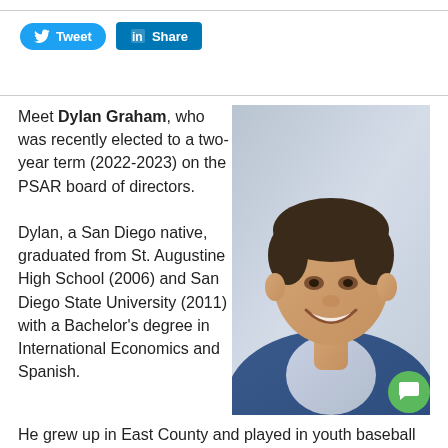[Figure (other): Twitter Tweet button (blue rounded) and LinkedIn Share button (blue square)]
Meet Dylan Graham, who was recently elected to a two-year term (2022-2023) on the PSAR board of directors.

Dylan, a San Diego native, graduated from St. Augustine High School (2006) and San Diego State University (2011) with a Bachelor's degree in International Economics and Spanish.
[Figure (photo): Professional headshot of Dylan Graham, a young man in a blue blazer, smiling, with short dark hair.]
He grew up in East County and played in youth baseball